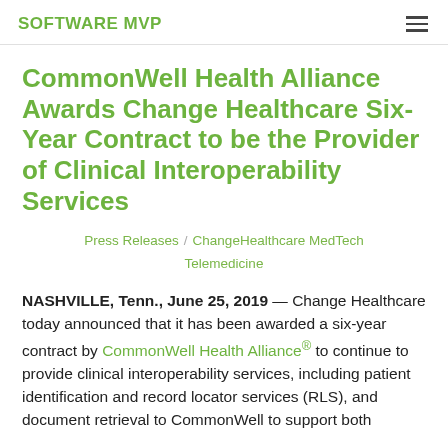SOFTWARE MVP
CommonWell Health Alliance Awards Change Healthcare Six-Year Contract to be the Provider of Clinical Interoperability Services
Press Releases / ChangeHealthcare MedTech Telemedicine
NASHVILLE, Tenn., June 25, 2019 — Change Healthcare today announced that it has been awarded a six-year contract by CommonWell Health Alliance® to continue to provide clinical interoperability services, including patient identification and record locator services (RLS), and document retrieval to CommonWell to support both